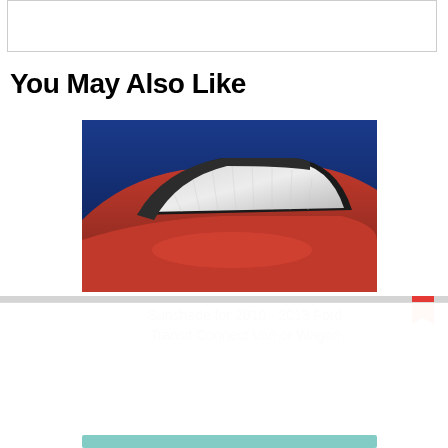[Figure (other): Empty white box at top of page, bordered]
You May Also Like
[Figure (photo): Photo of a red car with a silver sunshade installed on the windshield, against a blue background]
Sunshade for 2010 - 2013 Ford Transit Connect Van or Wagon
Have a cookie
Accept the use of cookies on this site more information
I Accept